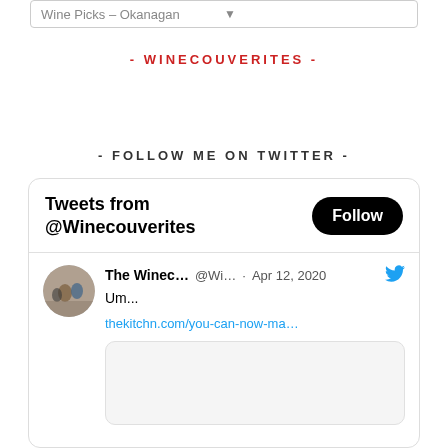[Figure (screenshot): Dropdown selector showing 'Wine Picks – Okanagan']
- WINECOUVERITES -
- FOLLOW ME ON TWITTER -
[Figure (screenshot): Twitter widget showing 'Tweets from @Winecouverites' with a Follow button, and a tweet from 'The Winec...' @Wi... · Apr 12, 2020 saying 'Um...' with a link thekitchn.com/you-can-now-ma...]